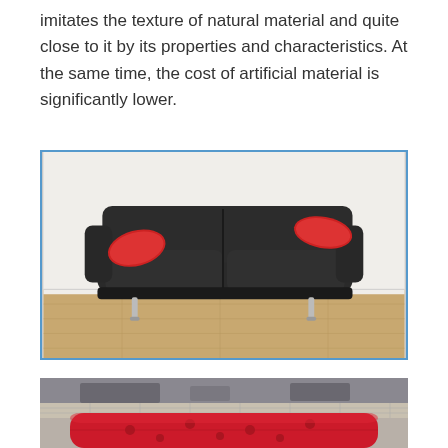imitates the texture of natural material and quite close to it by its properties and characteristics. At the same time, the cost of artificial material is significantly lower.
[Figure (photo): A dark brown/black leather sofa with two red decorative pillows, standing on chrome legs, photographed in a room with light wood flooring and white walls. The sofa has a modern design with two seat cushions.]
[Figure (photo): A red tufted leather armchair or sofa, partially visible, with a patterned/tiled floor background and some people visible in the background.]